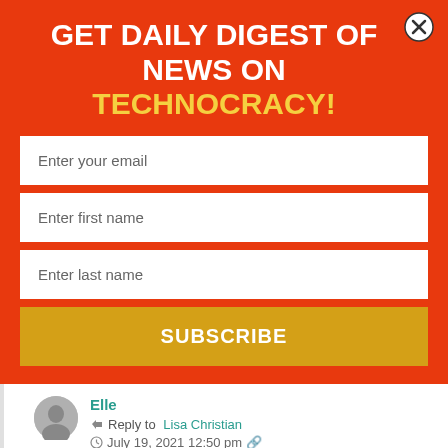GET DAILY DIGEST OF NEWS ON TECHNOCRACY!
Enter your email
Enter first name
Enter last name
SUBSCRIBE
Elle
Reply to Lisa Christian
July 19, 2021 12:50 pm
GOD! I hope you're right, Lisa. If I had only one wish it would be just that. When these criminals are taken out of office (however that happens – I don't care) the